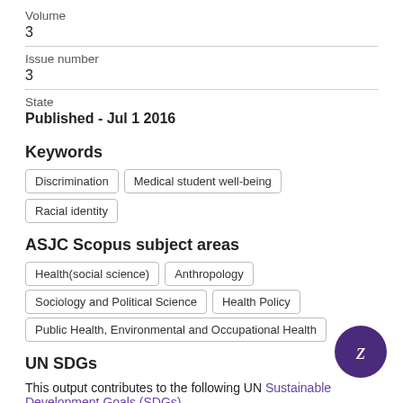Volume
3
Issue number
3
State
Published - Jul 1 2016
Keywords
Discrimination
Medical student well-being
Racial identity
ASJC Scopus subject areas
Health(social science)
Anthropology
Sociology and Political Science
Health Policy
Public Health, Environmental and Occupational Health
UN SDGs
This output contributes to the following UN Sustainable Development Goals (SDGs)